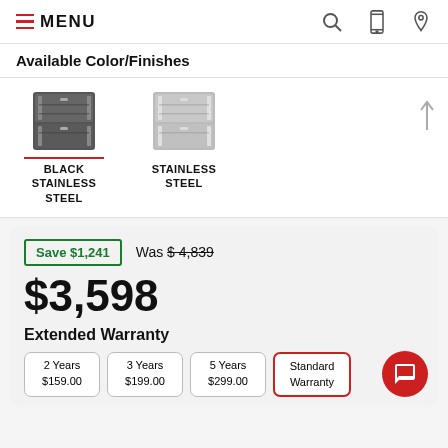MENU
Available Color/Finishes
[Figure (photo): Black Stainless Steel refrigerator swatch image, selected (with red underline)]
BLACK STAINLESS STEEL
[Figure (photo): Stainless Steel refrigerator swatch image]
STAINLESS STEEL
Save $1,241
Was $4,839
$3,598
Extended Warranty
2 Years $159.00
3 Years $199.00
5 Years $299.00
Standard Warranty